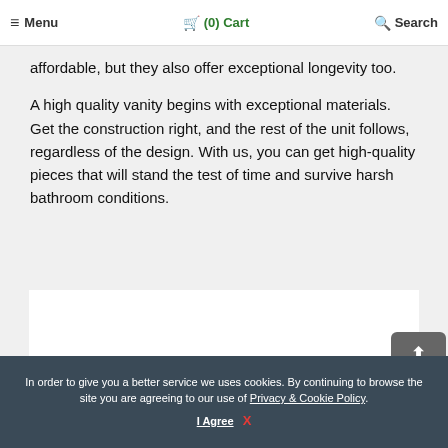≡ Menu  🛒 (0) Cart  🔍 Search
affordable, but they also offer exceptional longevity too.
A high quality vanity begins with exceptional materials. Get the construction right, and the rest of the unit follows, regardless of the design. With us, you can get high-quality pieces that will stand the test of time and survive harsh bathroom conditions.
[Figure (photo): Partial image of a bathroom vanity product, bottom portion visible with dark background]
In order to give you a better service we uses cookies. By continuing to browse the site you are agreeing to our use of Privacy & Cookie Policy. I Agree X